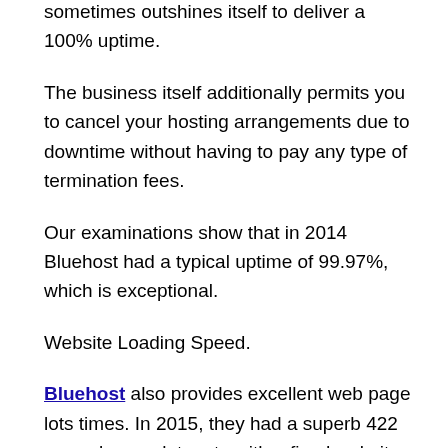According to these individuals, Bluehost ratings a 99.99% uptime typically as well as sometimes outshines itself to deliver a 100% uptime.
The business itself additionally permits you to cancel your hosting arrangements due to downtime without having to pay any type of termination fees.
Our examinations show that in 2014 Bluehost had a typical uptime of 99.97%, which is exceptional.
Website Loading Speed.
Bluehost also provides excellent web page lots times. In 2015, they had a superb 422 ms web page lots rate with a fixed website using their Fundamental common organizing plan.
This year, we set up WordPress as well as the page lots rate has boosted to a still respectable 650 ms.